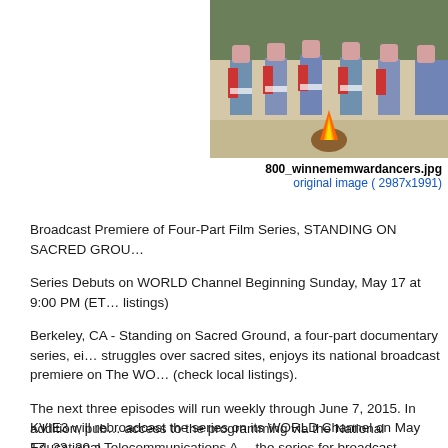[Figure (photo): Partial view of dancers in traditional attire with a fire, cropped at top-right of page]
800_winnememwardancers.jpg
original image ( 2987x1991)
Broadcast Premiere of Four-Part Film Series, STANDING ON SACRED GROU…
Series Debuts on WORLD Channel Beginning Sunday, May 17 at 9:00 PM (ET… listings)
Berkeley, CA - Standing on Sacred Ground, a four-part documentary series, ei… struggles over sacred sites, enjoys its national broadcast premiere on The WO… (check local listings).
The next three episodes will run weekly through June 7, 2015. In addition, pub… access to the programming via the National Educational Telecommunications A… the series for broadcast distribution beginning in April 2015. The WORLD Chan… nonfiction, news and documentary programming to U.S. audiences through loc… online. WORLD reached 35 million unique viewers 18+ last year.
KVIE3 will rebroadcast the series on its WORLD Channel on May 17, 23, 30 a…